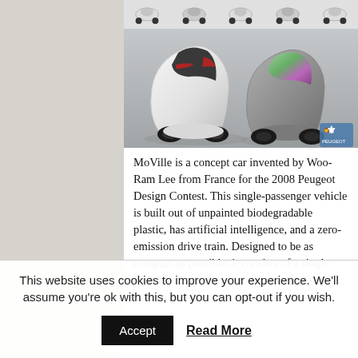[Figure (photo): Top strip showing small concept car icons in a row, and main large photo of two Peugeot MoVille concept cars — futuristic teardrop-shaped single-passenger vehicles, one white and one silver/green, on a grey background with Peugeot logo watermark.]
MoVille is a concept car invented by Woo-Ram Lee from France for the 2008 Peugeot Design Contest. This single-passenger vehicle is built out of unpainted biodegradable plastic, has artificial intelligence, and a zero-emission drive train. Designed to be as compact as possible, it consists of a single passenger capsule which tilts vertically to save space,
This website uses cookies to improve your experience. We'll assume you're ok with this, but you can opt-out if you wish.